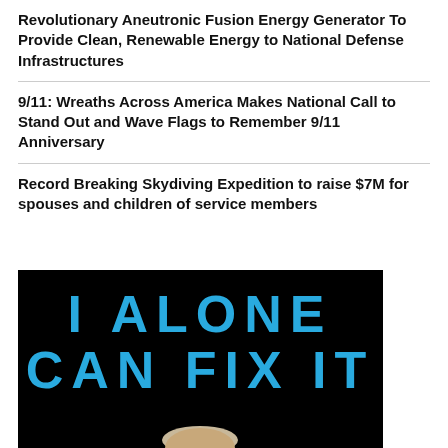Revolutionary Aneutronic Fusion Energy Generator To Provide Clean, Renewable Energy to National Defense Infrastructures
9/11: Wreaths Across America Makes National Call to Stand Out and Wave Flags to Remember 9/11 Anniversary
Record Breaking Skydiving Expedition to raise $7M for spouses and children of service members
[Figure (photo): Book cover for 'I Alone Can Fix It' showing bold cyan text on black background with a partial image of a person at the bottom]